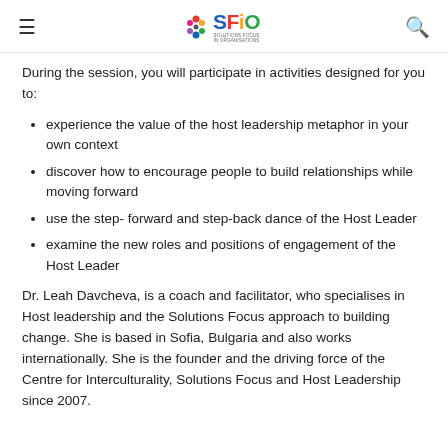SFiO logo header with hamburger menu and search icon
During the session, you will participate in activities designed for you to:
experience the value of the host leadership metaphor in your own context
discover how to encourage people to build relationships while moving forward
use the step- forward and step-back dance of the Host Leader
examine the new roles and positions of engagement of the Host Leader
Dr. Leah Davcheva, is a coach and facilitator, who specialises in Host leadership and the Solutions Focus approach to building change. She is based in Sofia, Bulgaria and also works internationally. She is the founder and the driving force of the Centre for Interculturality, Solutions Focus and Host Leadership since 2007.